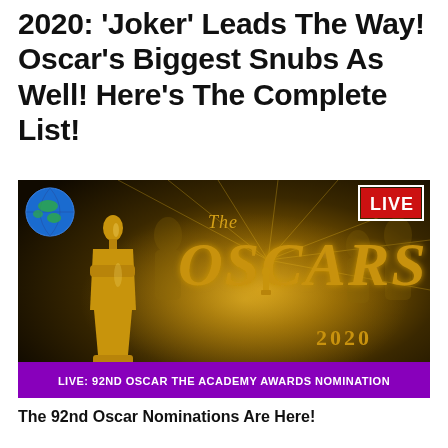2020: ‘Joker’ Leads The Way! Oscar’s Biggest Snubs As Well! Here’s The Complete List!
[Figure (photo): The Oscars 2020 Live broadcast promotional image showing the Oscar statuette, globe icon, golden 'The OSCARS' text on dark background with light rays, LIVE badge in top right corner, and purple banner reading 'LIVE: 92ND OSCAR THE ACADEMY AWARDS NOMINATION']
The 92nd Oscar Nominations Are Here!